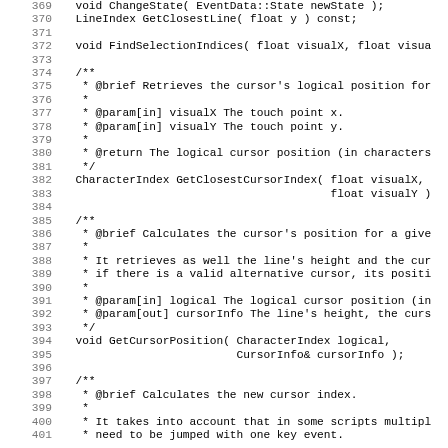Source code listing, lines 369–401, C++ header with Doxygen comments